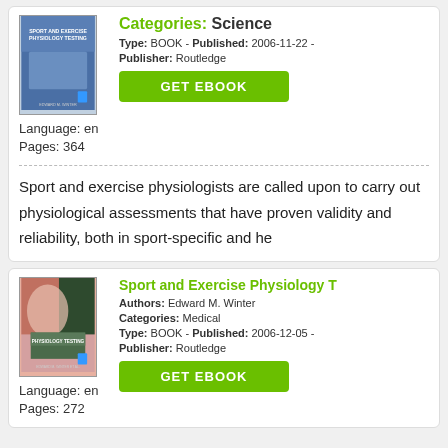Categories: Science
Language: en
Pages: 364
Type: BOOK - Published: 2006-11-22 - Publisher: Routledge
GET EBOOK
Sport and exercise physiologists are called upon to carry out physiological assessments that have proven validity and reliability, both in sport-specific and he
Sport and Exercise Physiology T
Authors: Edward M. Winter
Categories: Medical
Language: en
Pages: 272
Type: BOOK - Published: 2006-12-05 - Publisher: Routledge
GET EBOOK